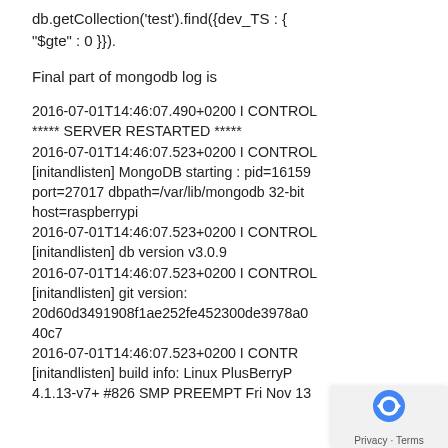db.getCollection('test').find({dev_TS : { "$gte" : 0 }}).
Final part of mongodb log is
2016-07-01T14:46:07.490+0200 I CONTROL ***** SERVER RESTARTED ***** 2016-07-01T14:46:07.523+0200 I CONTROL [initandlisten] MongoDB starting : pid=16159 port=27017 dbpath=/var/lib/mongodb 32-bit host=raspberrypi 2016-07-01T14:46:07.523+0200 I CONTROL [initandlisten] db version v3.0.9 2016-07-01T14:46:07.523+0200 I CONTROL [initandlisten] git version: 20d60d3491908f1ae252fe452300de3978a040c7 2016-07-01T14:46:07.523+0200 I CONTR [initandlisten] build info: Linux PlusBerryP 4.1.13-v7+ #826 SMP PREEMPT Fri Nov 13